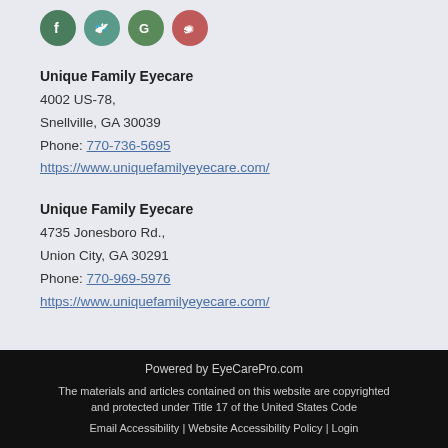[Figure (other): Social media icons: Facebook (green circle), Twitter (teal circle), Google (green circle), Yelp (red circle)]
Unique Family Eyecare
4002 US-78,
Snellville, GA 30039
Phone: 770-736-5695
https://www.uniquefamilyeyecare.com/
Unique Family Eyecare
4735 Jonesboro Rd.,
Union City, GA 30291
Phone: 770-969-5976
https://www.uniquefamilyeyecare.com/
Powered by EyeCarePro.com
The materials and articles contained on this website are copyrighted and protected under Title 17 of the United States Code
Email Accessibility | Website Accessibility Policy | Login